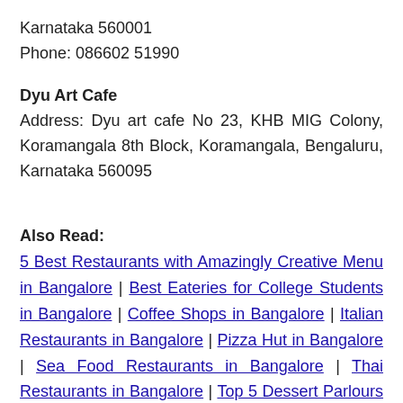Karnataka 560001
Phone: 086602 51990
Dyu Art Cafe
Address: Dyu art cafe No 23, KHB MIG Colony, Koramangala 8th Block, Koramangala, Bengaluru, Karnataka 560095
Also Read:
5 Best Restaurants with Amazingly Creative Menu in Bangalore | Best Eateries for College Students in Bangalore | Coffee Shops in Bangalore | Italian Restaurants in Bangalore | Pizza Hut in Bangalore | Sea Food Restaurants in Bangalore | Thai Restaurants in Bangalore | Top 5 Dessert Parlours in Bangalore | Veg